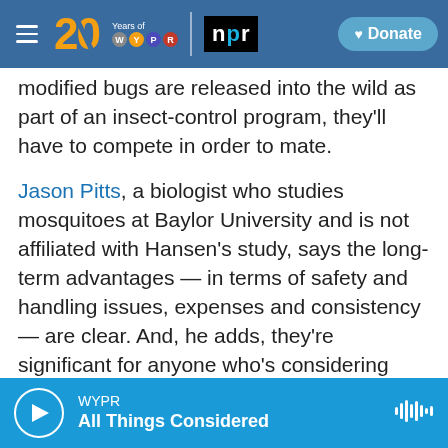WYPR 20 Years of WYPR | NPR | Donate
modified bugs are released into the wild as part of an insect-control program, they'll have to compete in order to mate.
Jason Pitts, a biologist who studies mosquitoes at Baylor University and is not affiliated with Hansen's study, says the long-term advantages — in terms of safety and handling issues, expenses and consistency — are clear. And, he adds, they're significant for anyone who's considering raising and releasing mosquitoes en masse.
Hansen agrees. "In order to control mosquitoes," he says, "we need more tools in our toolbox — and
WYPR | All Things Considered